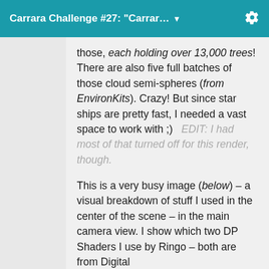Carrara Challenge #27: "Carrar... ▼
those, each holding over 13,000 trees! There are also five full batches of those cloud semi-spheres (from EnvironKits). Crazy! But since star ships are pretty fast, I needed a vast space to work with ;)   EDIT: I had most of that turned off for this render, though.
This is a very busy image (below) – a visual breakdown of stuff I used in the center of the scene – in the main camera view. I show which two DP Shaders I use by Ringo – both are from Digital